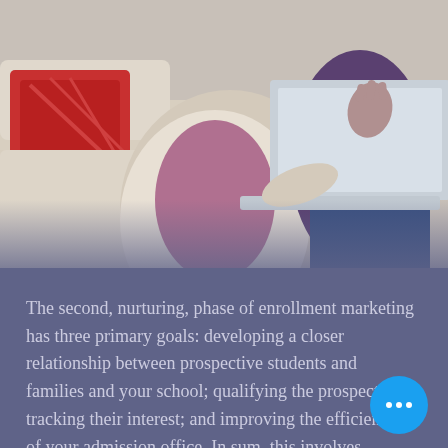[Figure (photo): Two women sitting on a couch with a laptop, one waving her hand, the other typing. Decorative red and white throw pillow visible on the left.]
The second, nurturing, phase of enrollment marketing has three primary goals: developing a closer relationship between prospective students and families and your school; qualifying the prospects by tracking their interest; and improving the efficiency of your admission office. In sum, this involves sending emails with personalized information to each prospect from the first interaction through the decision to attend the school. This approach